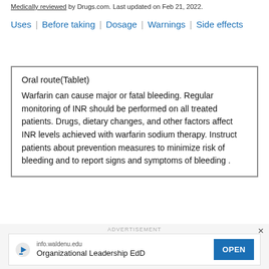Medically reviewed by Drugs.com. Last updated on Feb 21, 2022.
Uses | Before taking | Dosage | Warnings | Side effects
Oral route(Tablet)
Warfarin can cause major or fatal bleeding. Regular monitoring of INR should be performed on all treated patients. Drugs, dietary changes, and other factors affect INR levels achieved with warfarin sodium therapy. Instruct patients about prevention measures to minimize risk of bleeding and to report signs and symptoms of bleeding .
[Figure (screenshot): Advertisement banner for info.waldenu.edu - Organizational Leadership EdD with OPEN button]